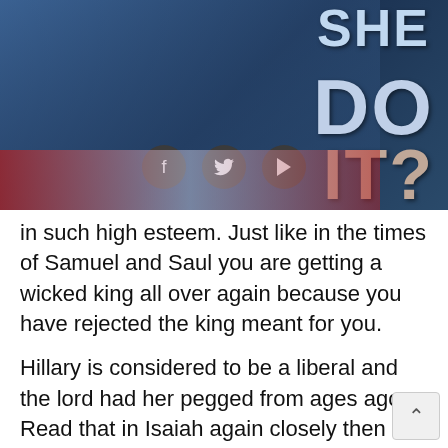[Figure (screenshot): Screenshot of a video thumbnail showing a political image with text 'SHE DO IT?' overlaid on a patriotic background with social media icons (Facebook, Twitter, YouTube) visible.]
in such high esteem. Just like in the times of Samuel and Saul you are getting a wicked king all over again because you have rejected the king meant for you.
Hillary is considered to be a liberal and the lord had her pegged from ages ago. Read that in Isaiah again closely then have a look a video that shows you clearly she is not someone to be trusted. Again the lord is a